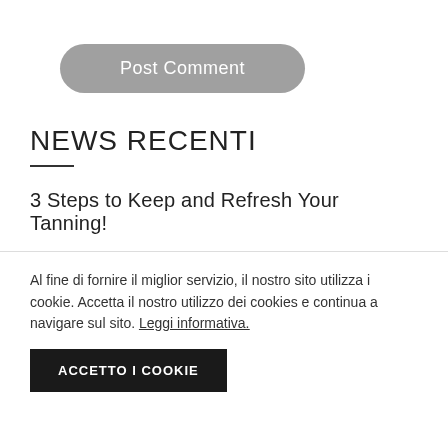Post Comment
NEWS RECENTI
3 Steps to Keep and Refresh Your Tanning!
Al fine di fornire il miglior servizio, il nostro sito utilizza i cookie. Accetta il nostro utilizzo dei cookies e continua a navigare sul sito. Leggi informativa.
ACCETTO I COOKIE